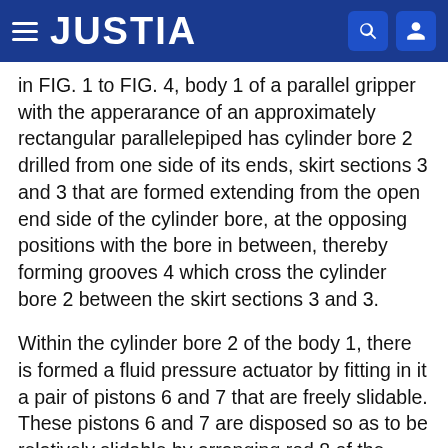JUSTIA
in FIG. 1 to FIG. 4, body 1 of a parallel gripper with the apperarance of an approximately rectangular parallelepiped has cylinder bore 2 drilled from one side of its ends, skirt sections 3 and 3 that are formed extending from the open end side of the cylinder bore, at the opposing positions with the bore in between, thereby forming grooves 4 which cross the cylinder bore 2 between the skirt sections 3 and 3.
Within the cylinder bore 2 of the body 1, there is formed a fluid pressure actuator by fitting in it a pair of pistons 6 and 7 that are freely slidable. These pistons 6 and 7 are disposed so as to be relatively slidable by arranging rod 8 of the inner piston 6 to penetrate airtightly through a through hole formed in the outer piston 7. Further, the outer piston 7 has, on both sides of the through hole into which is inserted the rod 8, guide sections 9 and 9 that slide along the grooves 4 in the axial direction of the